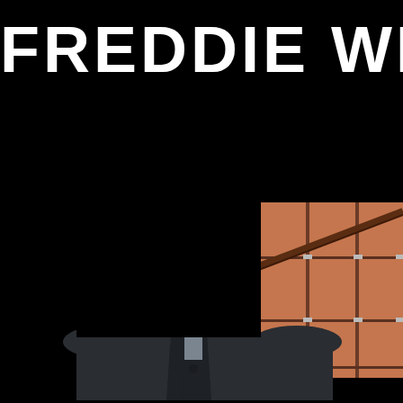FREDDIE WHIT
[Figure (photo): A person in a dark jacket standing in front of terracotta/salmon colored wall tiles. The image is partially obscured by a black rectangle covering the upper portion of the person's body and head. The visible portion shows the lower chest/torso in a dark coat and the tiled wall background with horizontal and vertical grouting lines.]